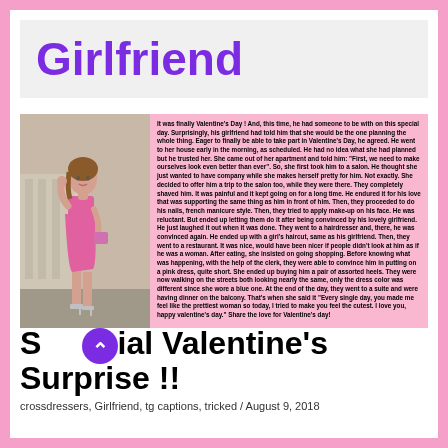Girlfriend
[Figure (photo): Young woman in short pink dress and heels posing outdoors]
It was finally Valentine's Day ! And, this time, he had someone to be with on this special day. Surprisingly, his girlfriend had told him that she would be the one planning the whole thing. Eager to finally be able to take part in Valentine's Day, he agreed. He went to her house early in the morning, as scheduled. He had no idea what she had planned but he trusted her. She came out of her apartment and told him: "First, we need to make ourselves look even better than ever". So, she first took him to a salon. He thought she just wanted to have company while she makes herself pretty for him. Not exactly. She decided to offer him a trip to the salon too, while they were there. They completely shaved him. It was painful and it kept going on for a long time. He endured it for his love that was supporting the same thing as him in front of him. Then, they proceeded to do his nails, french manicure style. Then, they tried to apply make-up on his face. He was reluctant. But ended up letting them do it after being convinced by his lovely girlfriend. He just laughed it out when it was done. They went to a hairdresser and, there, he was convinced again. He ended up with a girl's haircut, same as his girlfriend. Then, they went to a restaurant. It was nice, would have been nicer if people didn't look at him as if he was a woman. After eating, she insisted on going shopping. Before knowing what was happening, with the help of the clerk, they were able to convince him in putting on a pink dress, quite short. She ended up buying him a pair of assorted heels. They were now walking on the streets both looking nearly the same, only the dress color was different since she wore a blue one. At the end of the day, they went to a suite and were having dinner on the balcony. That's when she said it "Every single day, you made me feel like the prettiest woman so today, I tried to make you feel the cutest. I love you, happy valentine's day." Share the love for Valentine's day!
Special Valentine's Surprise !!
crossdressers, Girlfriend, tg captions, tricked / August 9, 2018